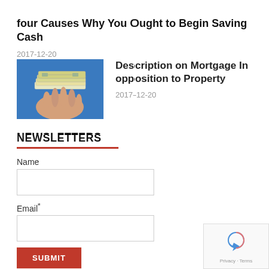four Causes Why You Ought to Begin Saving Cash
2017-12-20
[Figure (photo): A hand holding a stack of US dollar bills against a blue background]
Description on Mortgage In opposition to Property
2017-12-20
NEWSLETTERS
Name
Email*
SUBMIT